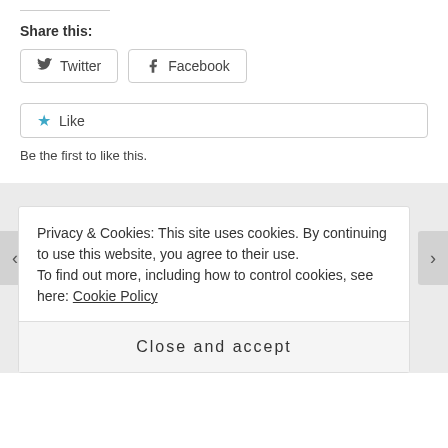Share this:
Twitter  Facebook
Like
Be the first to like this.
2 thoughts on “And We’re Back!”
[Figure (illustration): User avatar placeholder circle with silhouette]
Privacy & Cookies: This site uses cookies. By continuing to use this website, you agree to their use.
To find out more, including how to control cookies, see here: Cookie Policy
Close and accept